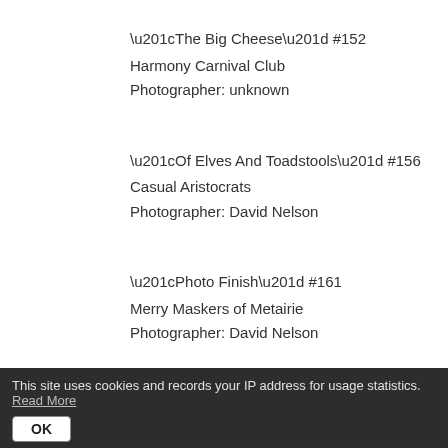“The Big Cheese” #152
Harmony Carnival Club
Photographer: unknown
“Of Elves And Toadstools” #156
Casual Aristocrats
Photographer: David Nelson
“Photo Finish” #161
Merry Maskers of Metairie
Photographer: David Nelson
[Figure (other): Back to top button with double chevron up arrow]
This site uses cookies and records your IP address for usage statistics. Read More OK